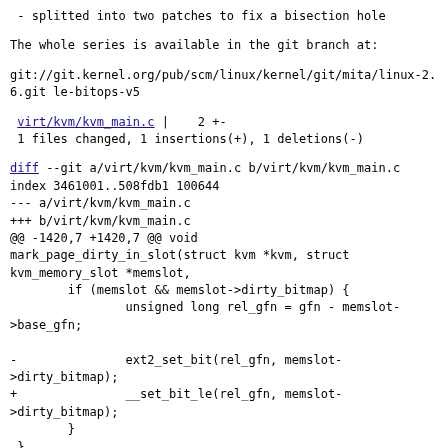- splitted into two patches to fix a bisection hole
The whole series is available in the git branch at:
git://git.kernel.org/pub/scm/linux/kernel/git/mita/linux-2.6.git le-bitops-v5
virt/kvm/kvm_main.c |    2 +-
 1 files changed, 1 insertions(+), 1 deletions(-)
diff --git a/virt/kvm/kvm_main.c b/virt/kvm/kvm_main.c
index 3461001..508fdb1 100644
--- a/virt/kvm/kvm_main.c
+++ b/virt/kvm/kvm_main.c
@@ -1420,7 +1420,7 @@ void
mark_page_dirty_in_slot(struct kvm *kvm, struct
kvm_memory_slot *memslot,
        if (memslot && memslot->dirty_bitmap) {
                unsigned long rel_gfn = gfn - memslot->base_gfn;

-               ext2_set_bit(rel_gfn, memslot->dirty_bitmap);
+               __set_bit_le(rel_gfn, memslot->dirty_bitmap);
        }
 }
--
1.7.3.4